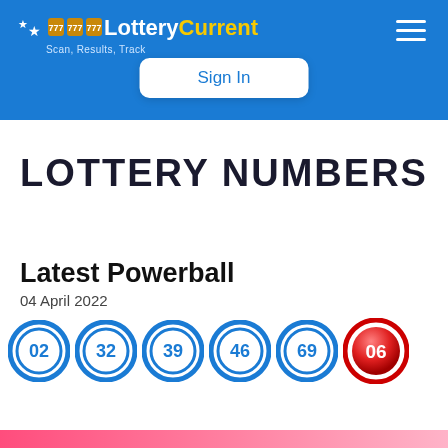[Figure (logo): LotteryCurrent logo with stars and slot machine icons, tagline: Scan, Results, Track]
Sign In
LOTTERY NUMBERS
Latest Powerball
04 April 2022
[Figure (infographic): Six lottery balls showing numbers: 02, 32, 39, 46, 69 (blue) and 06 (red Powerball)]